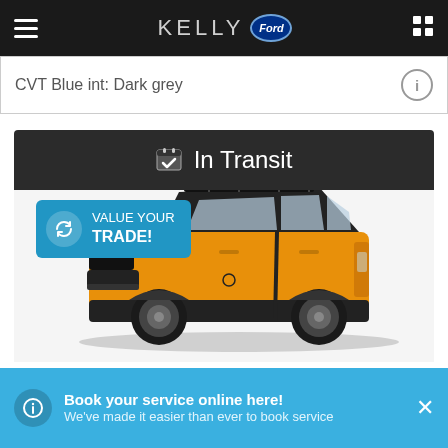KELLY Ford
CVT Blue int: Dark grey
In Transit
[Figure (photo): Ford Bronco Sport in orange/yellow color, SUV, in-transit listing on a dealer website]
VALUE YOUR TRADE!
Book your service online here! We've made it easier than ever to book service